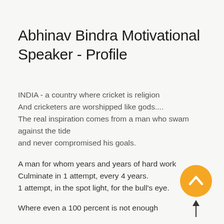Abhinav Bindra Motivational Speaker - Profile
INDIA - a country where cricket is religion
And cricketers are worshipped like gods....
The real inspiration comes from a man who swam against the tide
and never compromised his goals.
A man for whom years and years of hard work
Culminate in 1 attempt, every 4 years.
1 attempt, in the spot light, for the bull's eye.
[Figure (illustration): Gold circular button with upward chevron arrow icon, with a vertical arrow below pointing upward (scroll up / back to top button)]
Where even a 100 percent is not enough